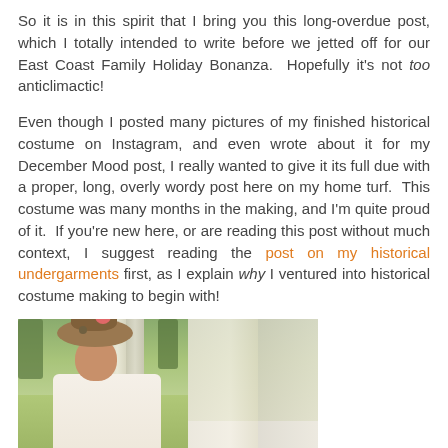So it is in this spirit that I bring you this long-overdue post, which I totally intended to write before we jetted off for our East Coast Family Holiday Bonanza.  Hopefully it's not too anticlimactic!
Even though I posted many pictures of my finished historical costume on Instagram, and even wrote about it for my December Mood post, I really wanted to give it its full due with a proper, long, overly wordy post here on my home turf.  This costume was many months in the making, and I'm quite proud of it.  If you're new here, or are reading this post without much context, I suggest reading the post on my historical undergarments first, as I explain why I ventured into historical costume making to begin with!
[Figure (photo): A woman in a white historical costume and a wide-brimmed hat decorated with flowers, standing in front of white columns with green trees in the background.]